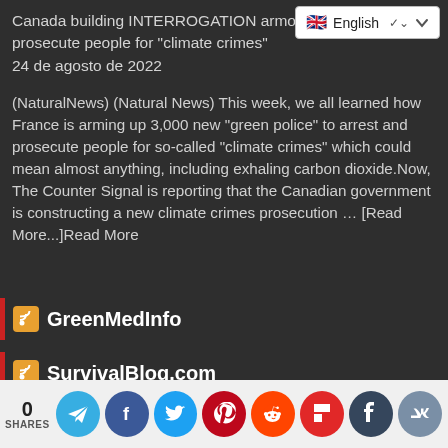Canada building INTERROGATION armories to arrest and prosecute people for "climate crimes" 24 de agosto de 2022
(NaturalNews) (Natural News) This week, we all learned how France is arming up 3,000 new "green police" to arrest and prosecute people for so-called "climate crimes" which could mean almost anything, including exhaling carbon dioxide.Now, The Counter Signal is reporting that the Canadian government is constructing a new climate crimes prosecution … [Read More...]Read More
GreenMedInfo
SurvivalBlog.com
Preparedness Notes for Wednesday — August 24, 2022 24 de agosto de 2022
0 SHARES